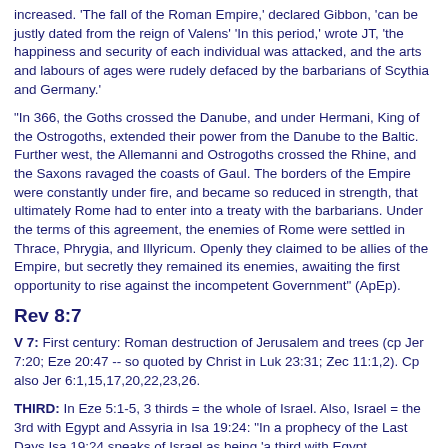increased. 'The fall of the Roman Empire,' declared Gibbon, 'can be justly dated from the reign of Valens' 'In this period,' wrote JT, 'the happiness and security of each individual was attacked, and the arts and labours of ages were rudely defaced by the barbarians of Scythia and Germany.'
"In 366, the Goths crossed the Danube, and under Hermani, King of the Ostrogoths, extended their power from the Danube to the Baltic. Further west, the Allemanni and Ostrogoths crossed the Rhine, and the Saxons ravaged the coasts of Gaul. The borders of the Empire were constantly under fire, and became so reduced in strength, that ultimately Rome had to enter into a treaty with the barbarians. Under the terms of this agreement, the enemies of Rome were settled in Thrace, Phrygia, and Illyricum. Openly they claimed to be allies of the Empire, but secretly they remained its enemies, awaiting the first opportunity to rise against the incompetent Government" (ApEp).
Rev 8:7
V 7: First century: Roman destruction of Jerusalem and trees (cp Jer 7:20; Eze 20:47 -- so quoted by Christ in Luk 23:31; Zec 11:1,2). Cp also Jer 6:1,15,17,20,22,23,26.
THIRD: In Eze 5:1-5, 3 thirds = the whole of Israel. Also, Israel = the 3rd with Egypt and Assyria in Isa 19:24: "In a prophecy of the Last Days Isa 19:24 speaks of Israel as being 'a third with Egypt